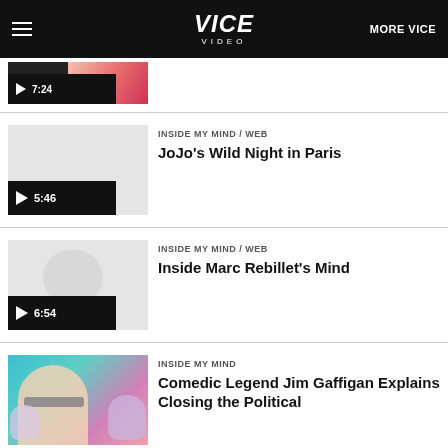VICE VIDEO
[Figure (screenshot): Partial video thumbnail with play button and timestamp 7:24]
[Figure (screenshot): Gray video thumbnail for JoJo's Wild Night in Paris with play button and timestamp 5:46]
INSIDE MY MIND / WEB
JoJo's Wild Night in Paris
[Figure (screenshot): Gray video thumbnail for Inside Marc Rebillet's Mind with play button and timestamp 6:54]
INSIDE MY MIND / WEB
Inside Marc Rebillet's Mind
[Figure (photo): Photo of Jim Gaffigan with animated sheep characters on colorful background]
INSIDE MY MIND
Comedic Legend Jim Gaffigan Explains Closing the Political